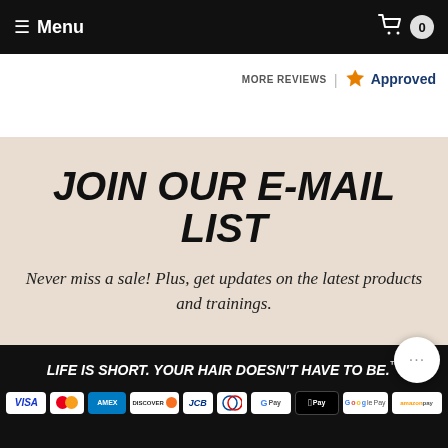≡ Menu | 0
MORE REVIEWS | Approved
JOIN OUR E-MAIL LIST
Never miss a sale! Plus, get updates on the latest products and trainings.
LIFE IS SHORT. YOUR HAIR DOESN'T HAVE TO BE.™
[Figure (infographic): Payment method icons: VISA, Mastercard, AMEX, Discover, JCB, Diners Club, GPay, Apple Pay, Google Pay, Amazon Pay]